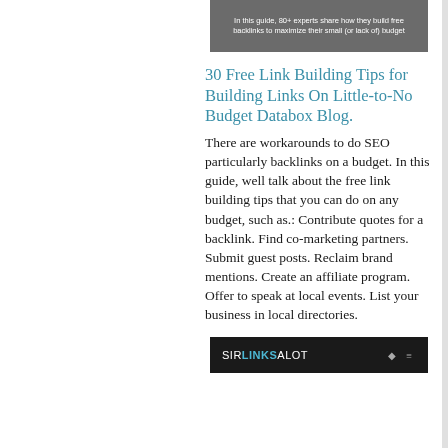[Figure (screenshot): Dark gray banner/header image with white text reading: 'In this guide, 80+ experts share how they build free backlinks to maximize their small (or lack of) budget']
30 Free Link Building Tips for Building Links On Little-to-No Budget Databox Blog.
There are workarounds to do SEO particularly backlinks on a budget. In this guide, well talk about the free link building tips that you can do on any budget, such as.: Contribute quotes for a backlink. Find co-marketing partners. Submit guest posts. Reclaim brand mentions. Create an affiliate program. Offer to speak at local events. List your business in local directories.
[Figure (screenshot): Black navigation bar with SIRLINKSALOT logo text (LINKS in bold teal) and navigation icons on the right]